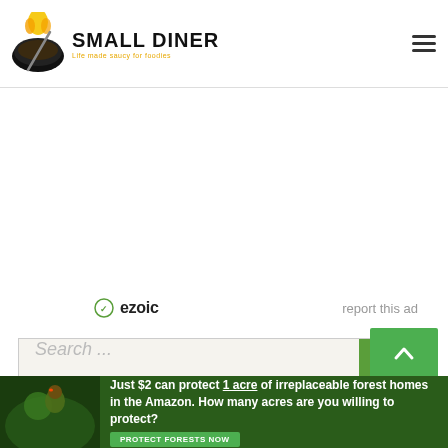SMALL DINER - Life made saucy for foodies
[Figure (infographic): Advertisement area with Ezoic branding and 'report this ad' link]
report this ad
[Figure (screenshot): Search bar with text 'Search ...' and green search button with magnifying glass icon]
[Figure (infographic): Amazon forest conservation banner ad: 'Just $2 can protect 1 acre of irreplaceable forest homes in the Amazon. How many acres are you willing to protect?' with 'PROTECT FORESTS NOW' button]